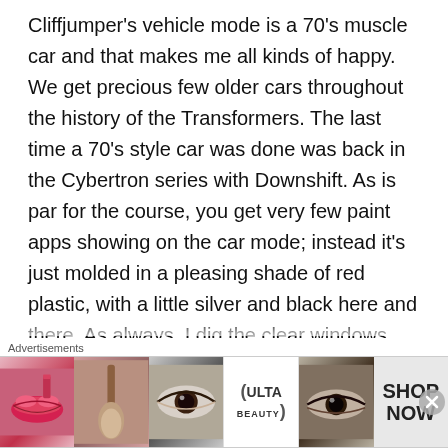Cliffjumper's vehicle mode is a 70's muscle car and that makes me all kinds of happy. We get precious few older cars throughout the history of the Transformers. The last time a 70's style car was done was back in the Cybertron series with Downshift. As is par for the course, you get very few paint apps showing on the car mode; instead it's just molded in a pleasing shade of red plastic, with a little silver and black here and there. As always, I dig the clear windows, and the soft steer horns on the hood are a cool little touch. The car mode does have a bit of seaming and some of these are tough to close all the way when transforming him. He's also got a little kibble, as his feet are protruding down from his undercarriage just in front of
[Figure (other): Advertisement banner for ULTA beauty with cosmetic imagery (lips with lipstick, makeup brush, eye with eyeshadow, ULTA logo, eye with mascara) and SHOP NOW call-to-action]